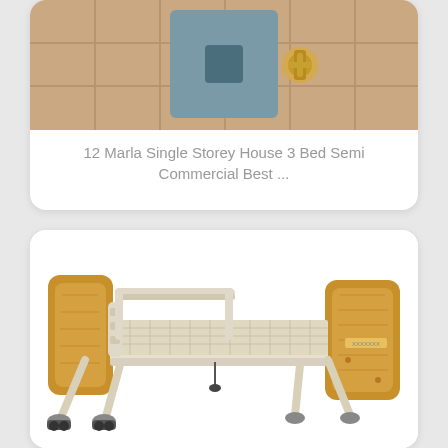[Figure (photo): Close-up photo of a floor drain or water valve fitting on a tiled floor, with a blue-grey drain cover and a brass/gold tap or bolt.]
12 Marla Single Storey House 3 Bed Semi Commercial Best ...
[Figure (photo): Photo of a hospital or home care adjustable bed with wooden headboard and footboard, metal frame with mesh surface, side safety rails, and wheels/casters.]